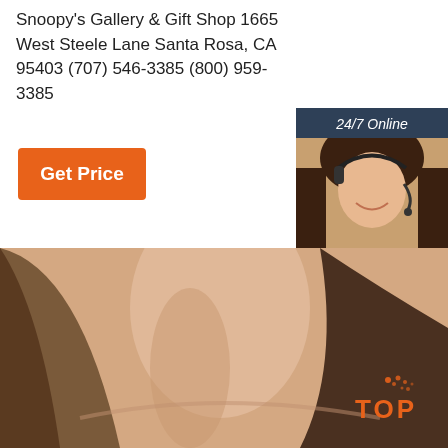Snoopy's Gallery & Gift Shop 1665 West Steele Lane Santa Rosa, CA 95403 (707) 546-3385 (800) 959-3385
[Figure (other): Orange 'Get Price' button]
[Figure (other): 24/7 Online customer service widget panel with photo of woman with headset, 'Click here for free chat!' text, and orange QUOTATION button]
[Figure (photo): Close-up photo of woman's neck and hair, bottom portion of page]
[Figure (logo): TOP logo with orange dots and text in bottom right corner]